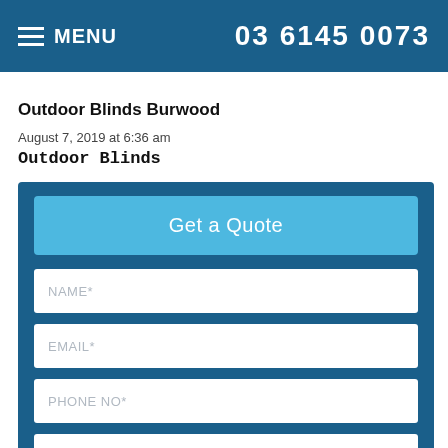MENU  03 6145 0073
Outdoor Blinds Burwood
August 7, 2019 at 6:36 am
Outdoor Blinds
Get a Quote
NAME*
EMAIL*
PHONE NO*
LOCATION*